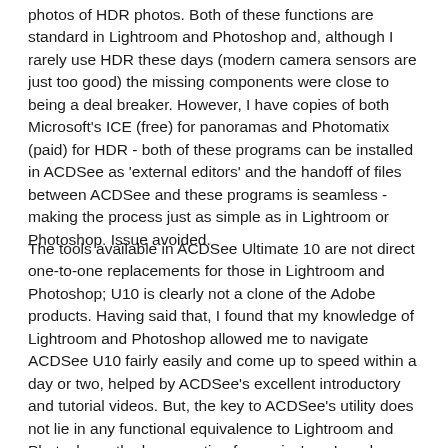photos of HDR photos. Both of these functions are standard in Lightroom and Photoshop and, although I rarely use HDR these days (modern camera sensors are just too good) the missing components were close to being a deal breaker. However, I have copies of both Microsoft's ICE (free) for panoramas and Photomatix (paid) for HDR - both of these programs can be installed in ACDSee as 'external editors' and the handoff of files between ACDSee and these programs is seamless - making the process just as simple as in Lightroom or Photoshop. Issue avoided.
The tools available in ACDSee Ultimate 10 are not direct one-to-one replacements for those in Lightroom and Photoshop; U10 is clearly not a clone of the Adobe products. Having said that, I found that my knowledge of Lightroom and Photoshop allowed me to navigate ACDSee U10 fairly easily and come up to speed within a day or two, helped by ACDSee's excellent introductory and tutorial videos. But, the key to ACDSee's utility does not lie in any functional equivalence to Lightroom and Photoshop - the key question for me is, 'can I produce equivalent results' and the answer here is decidedly, 'yes'. In fact, in some areas, like infrared, I